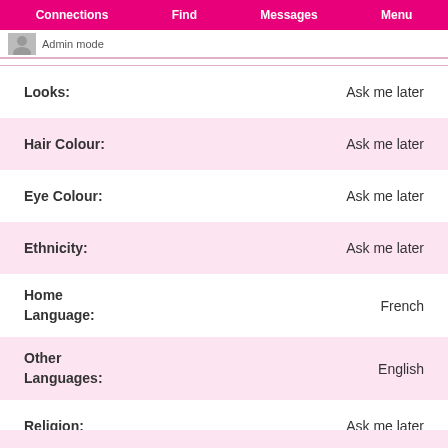Connections  Find  Messages  Menu
Admin mode
Looks: Ask me later
Hair Colour: Ask me later
Eye Colour: Ask me later
Ethnicity: Ask me later
Home Language: French
Other Languages: English
Religion: Ask me later